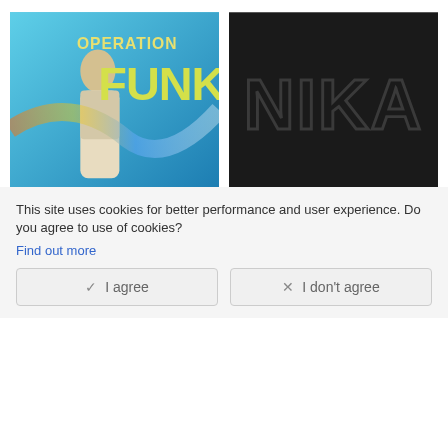[Figure (photo): Album cover for Operation Funk (2022) by Various Artists. Turquoise/blue sky background with a person in white clothing and large yellow text reading 'OPERATION FUNK']
Various Artists
Operation Funk (2022)
CD2   2022
[Figure (photo): Album cover for Music From The Westerns Of Joh (2022) by Various Artists. Dark/black background with stylized letters 'NIKA' in dark outline]
Various Artists
Music From The Westerns Of Joh (2022)
CD   2022
This site uses cookies for better performance and user experience. Do you agree to use of cookies?
Find out more
I agree
I don't agree